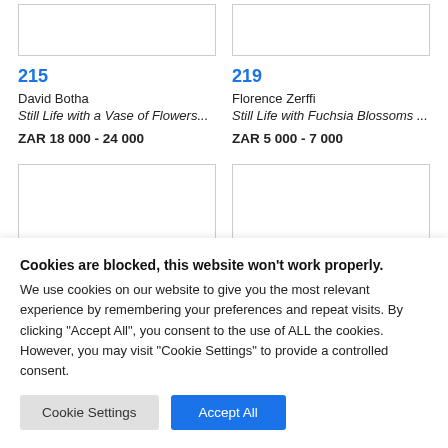[Figure (photo): Auction lot image placeholder box for lot 215]
[Figure (photo): Auction lot image placeholder box for lot 219]
215
David Botha
Still Life with a Vase of Flowers...
ZAR 18 000 - 24 000
219
Florence Zerffi
Still Life with Fuchsia Blossoms ...
ZAR 5 000 - 7 000
[Figure (photo): Auction lot image placeholder box (bottom left)]
[Figure (photo): Auction lot image placeholder box (bottom right)]
Cookies are blocked, this website won't work properly. We use cookies on our website to give you the most relevant experience by remembering your preferences and repeat visits. By clicking "Accept All", you consent to the use of ALL the cookies. However, you may visit "Cookie Settings" to provide a controlled consent.
Cookie Settings
Accept All